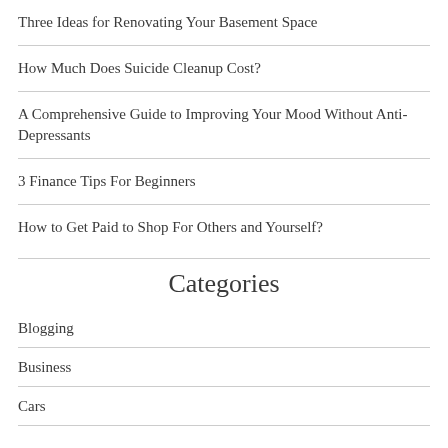Three Ideas for Renovating Your Basement Space
How Much Does Suicide Cleanup Cost?
A Comprehensive Guide to Improving Your Mood Without Anti-Depressants
3 Finance Tips For Beginners
How to Get Paid to Shop For Others and Yourself?
Categories
Blogging
Business
Cars